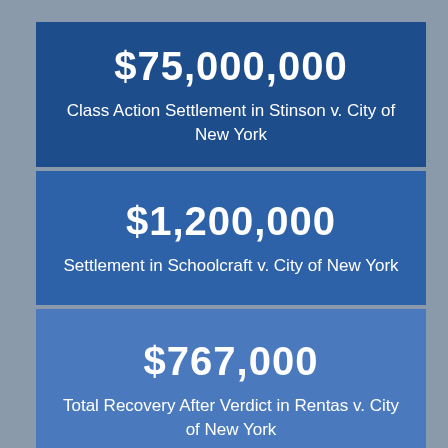$75,000,000
Class Action Settlement in Stinson v. City of New York
$1,200,000
Settlement in Schoolcraft v. City of New York
$767,000
Total Recovery After Verdict in Rentas v. City of New York